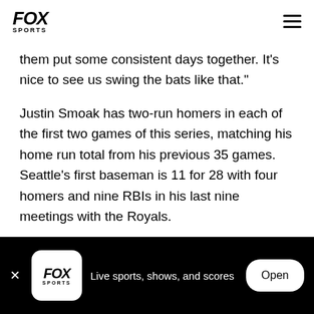FOX SPORTS
them put some consistent days together. It's nice to see us swing the bats like that."
Justin Smoak has two-run homers in each of the first two games of this series, matching his home run total from his previous 35 games. Seattle's first baseman is 11 for 28 with four homers and nine RBIs in his last nine meetings with the Royals.
Millwood (3-7, 3.71 ERA) could use some help from
Live sports, shows, and scores  Open